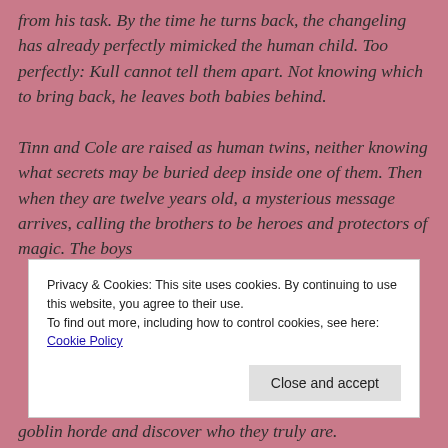from his task. By the time he turns back, the changeling has already perfectly mimicked the human child. Too perfectly: Kull cannot tell them apart. Not knowing which to bring back, he leaves both babies behind.

Tinn and Cole are raised as human twins, neither knowing what secrets may be buried deep inside one of them. Then when they are twelve years old, a mysterious message arrives, calling the brothers to be heroes and protectors of magic. The boys
Privacy & Cookies: This site uses cookies. By continuing to use this website, you agree to their use.
To find out more, including how to control cookies, see here: Cookie Policy
goblin horde and discover who they truly are.